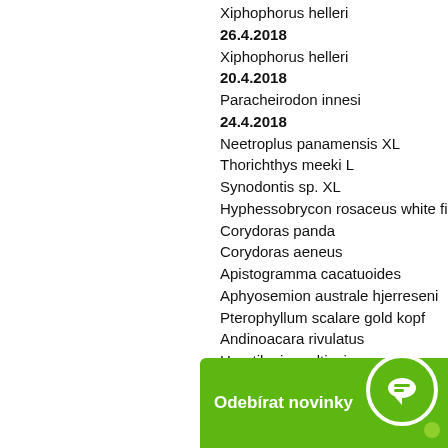Xiphophorus helleri
26.4.2018
Xiphophorus helleri
20.4.2018
Paracheirodon innesi
24.4.2018
Neetroplus panamensis XL
Thorichthys meeki L
Synodontis sp. XL
Hyphessobrycon rosaceus white fin
Corydoras panda
Corydoras aeneus
Apistogramma cacatuoides
Aphyosemion australe hjerreseni
Pterophyllum scalare gold kopf
Andinoacara rivulatus
Herotilapia multispinosa
Pterophyllum scalare Manacapuru red back
Sciaenochromis fryeri Iceberg
Puntius pentazona
Pethia gelius
Trigonostigma heteromorpha
Chilatherina bleheri
Melanotaenia boesemani
Microphis aculeatus
Serrasalmus rhombeus black
Otocinclus…
Lysmata…
Pterioph…